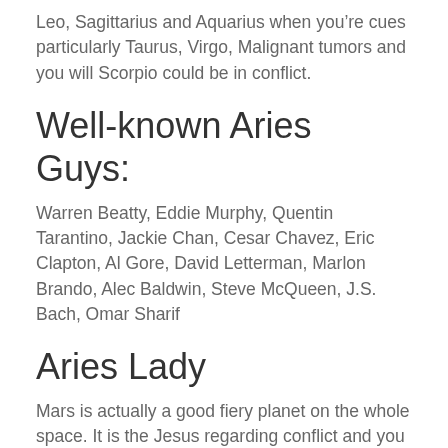Leo, Sagittarius and Aquarius when you’re cues particularly Taurus, Virgo, Malignant tumors and you will Scorpio could be in conflict.
Well-known Aries Guys:
Warren Beatty, Eddie Murphy, Quentin Tarantino, Jackie Chan, Cesar Chavez, Eric Clapton, Al Gore, David Letterman, Marlon Brando, Alec Baldwin, Steve McQueen, J.S. Bach, Omar Sharif
Aries Lady
Mars is actually a good fiery planet on the whole space. It is the Jesus regarding conflict and you may strife! Mars controls a keen Aries lady. The good letters regarding energy, courage and you may bravado may be the hallmarks out of an enthusiastic Aires lady. An enthusiastic Aries woman is quite desperate to search